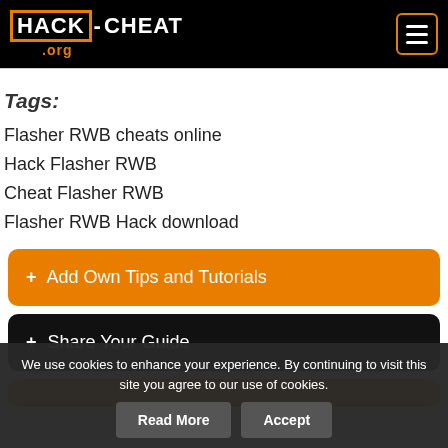HACK-CHEAT .org
Tags:
Flasher RWB cheats online
Hack Flasher RWB
Cheat Flasher RWB
Flasher RWB Hack download
+ Add Own Tips and Tutorials
+ Share Your Guide
We use cookies to enhance your experience. By continuing to visit this site you agree to our use of cookies.